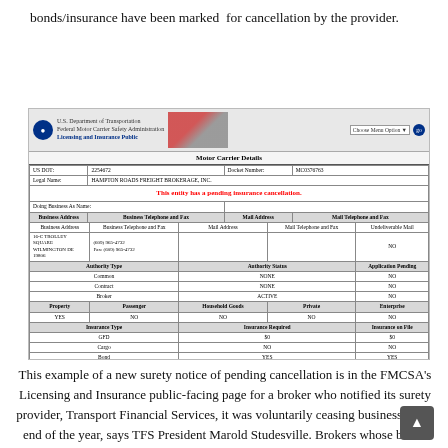bonds/insurance have been marked for cancellation by the provider.
[Figure (screenshot): FMCSA Licensing and Insurance Public website screenshot showing Motor Carrier Details for HAMPTON ROADS FREIGHT BROKERAGE, INC. with a red warning: 'This entity has a pending insurance cancellation.' US DOT: 2254672, Docket Number: MC0376763. Shows authority types (Common: NONE/NO, Contract: NONE/NO, Broker: ACTIVE/NO), property/passenger/household goods fields, and insurance table showing GPD: $0/$0, Cargo: NO/NO, Bond: YES/YES.]
This example of a new surety notice of pending cancellation is in the FMCSA's Licensing and Insurance public-facing page for a broker who notified its surety provider, Transport Financial Services, it was voluntarily ceasing business at the end of the year, says TFS President Marold Studesville. Brokers whose bonds have